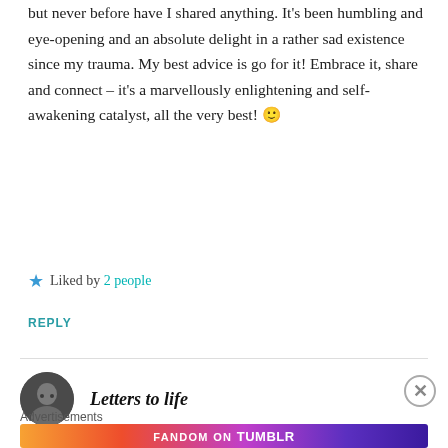but never before have I shared anything. It's been humbling and eye-opening and an absolute delight in a rather sad existence since my trauma. My best advice is go for it! Embrace it, share and connect – it's a marvellously enlightening and self-awakening catalyst, all the very best! 🙂
★ Liked by 2 people
REPLY
Letters to life
[Figure (photo): Avatar photo of a person]
Advertisements
[Figure (infographic): Fandom on Tumblr advertisement banner with colorful gradient background]